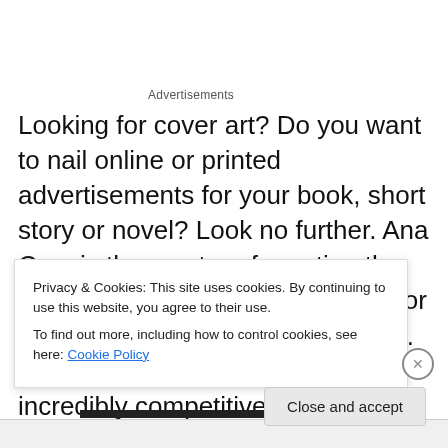Advertisements
Looking for cover art? Do you want to nail online or printed advertisements for your book, short story or novel? Look no further. Ana Cruz is the master of creating the perfect book cover, marketing art or any other contracted art you need. This talented artist works at incredibly competitive prices, and contracts all rights to the payer. How do I know? I've used her for both “Dim Fairy Tales” and
Privacy & Cookies: This site uses cookies. By continuing to use this website, you agree to their use.
To find out more, including how to control cookies, see here: Cookie Policy
Close and accept